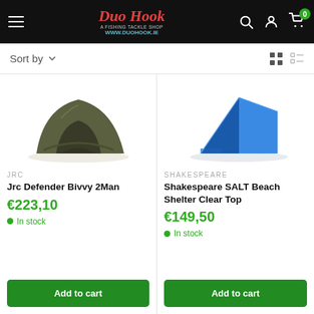Duo Hook - www.duohook.ie - Fishing Tackle Shop
Sort by
[Figure (photo): Olive/khaki JRC Defender Bivvy 2Man tent shelter, partially visible from front angle]
JRC
Jrc Defender Bivvy 2Man
€223,10
In stock
Add to cart
[Figure (photo): Blue Shakespeare SALT Beach Shelter Clear Top tent, open front facing right]
SHAKESPEARE
Shakespeare SALT Beach Shelter Clear Top
€149,50
In stock
Add to cart